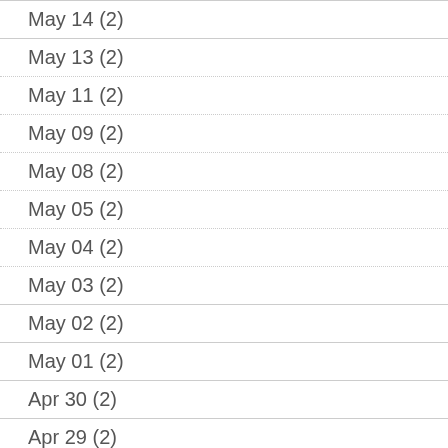May 14 (2)
May 13 (2)
May 11 (2)
May 09 (2)
May 08 (2)
May 05 (2)
May 04 (2)
May 03 (2)
May 02 (2)
May 01 (2)
Apr 30 (2)
Apr 29 (2)
Apr 28 (2)
Apr 27 (2)
Apr 26 (2)
Apr 25 (2)
Apr 24 (2)
Apr 23 (2)
Apr 22 (2)
Apr 21 (2)